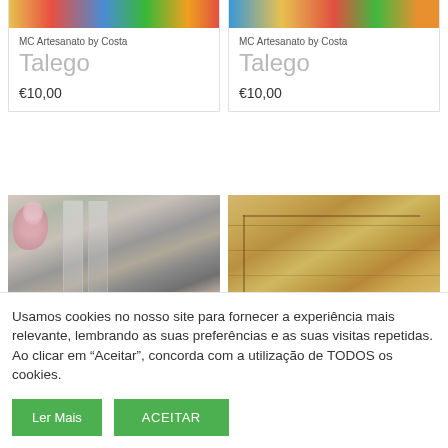[Figure (photo): Top portion of two product cards showing colorful fringe/tassel products from MC Artesanato by Costa]
MC Artesanato by Costa
Talego
€10,00
MC Artesanato by Costa
Talego
€10,00
[Figure (photo): Photo of engraved/personalized champagne flute glasses with flowers]
[Figure (photo): Photo of a wooden cutting board/serving board]
Usamos cookies no nosso site para fornecer a experiência mais relevante, lembrando as suas preferências e as suas visitas repetidas. Ao clicar em “Aceitar”, concorda com a utilização de TODOS os cookies.
Ler Mais
ACEITAR